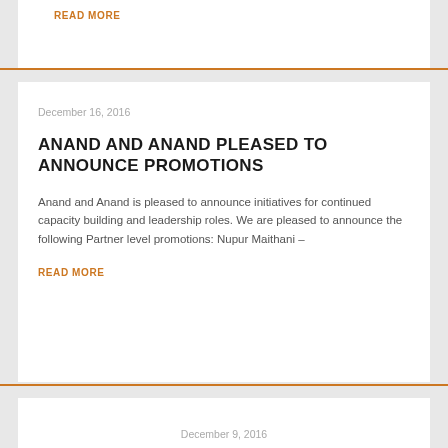READ MORE
December 16, 2016
ANAND AND ANAND PLEASED TO ANNOUNCE PROMOTIONS
Anand and Anand is pleased to announce initiatives for continued capacity building and leadership roles. We are pleased to announce the following Partner level promotions: Nupur Maithani –
READ MORE
December 9, 2016